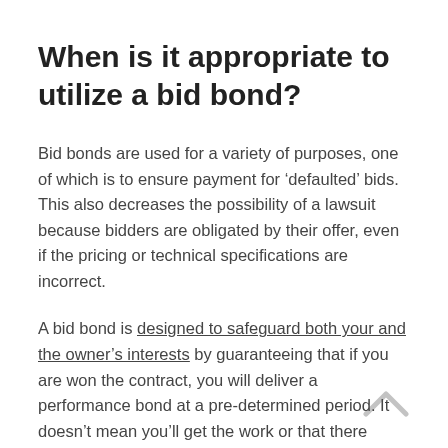When is it appropriate to utilize a bid bond?
Bid bonds are used for a variety of purposes, one of which is to ensure payment for ‘defaulted’ bids. This also decreases the possibility of a lawsuit because bidders are obligated by their offer, even if the pricing or technical specifications are incorrect.
A bid bond is designed to safeguard both your and the owner’s interests by guaranteeing that if you are won the contract, you will deliver a performance bond at a pre-determined period. It doesn’t mean you’ll get the work or that there won’t be a change order that